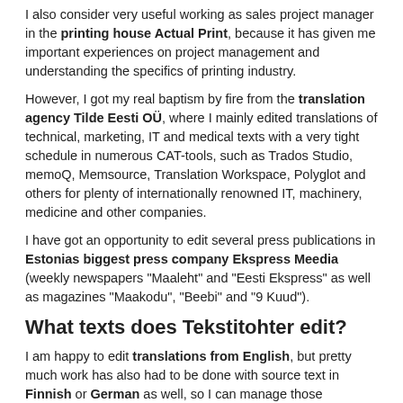I also consider very useful working as sales project manager in the printing house Actual Print, because it has given me important experiences on project management and understanding the specifics of printing industry.
However, I got my real baptism by fire from the translation agency Tilde Eesti OÜ, where I mainly edited translations of technical, marketing, IT and medical texts with a very tight schedule in numerous CAT-tools, such as Trados Studio, memoQ, Memsource, Translation Workspace, Polyglot and others for plenty of internationally renowned IT, machinery, medicine and other companies.
I have got an opportunity to edit several press publications in Estonias biggest press company Ekspress Meedia (weekly newspapers "Maaleht" and "Eesti Ekspress" as well as magazines "Maakodu", "Beebi" and "9 Kuud").
What texts does Tekstitohter edit?
I am happy to edit translations from English, but pretty much work has also had to be done with source text in Finnish or German as well, so I can manage those languages too.